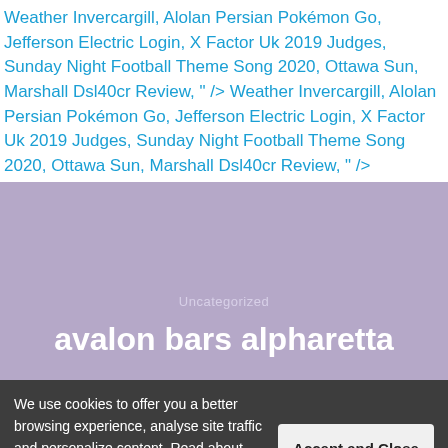Weather Invercargill, Alolan Persian Pokémon Go, Jefferson Electric Login, X Factor Uk 2019 Judges, Sunday Night Football Theme Song 2020, Ottawa Sun, Marshall Dsl40cr Review, " /> Weather Invercargill, Alolan Persian Pokémon Go, Jefferson Electric Login, X Factor Uk 2019 Judges, Sunday Night Football Theme Song 2020, Ottawa Sun, Marshall Dsl40cr Review, " />
[Figure (other): Purple/lavender background section with 'Uncategorized' label and page title 'avalon bars alpharetta' in white text]
Uncategorized
avalon bars alpharetta
We use cookies to offer you a better browsing experience, analyse site traffic and personalize content. Read about how we use cookies in our Privacy Policy